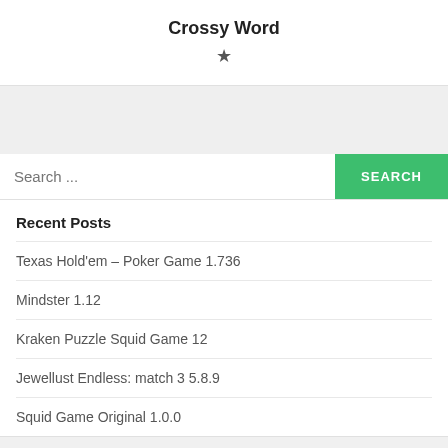Crossy Word
Recent Posts
Texas Hold'em – Poker Game 1.736
Mindster 1.12
Kraken Puzzle Squid Game 12
Jewellust Endless: match 3 5.8.9
Squid Game Original 1.0.0